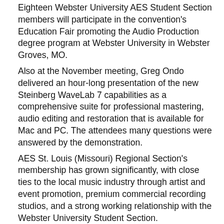Eighteen Webster University AES Student Section members will participate in the convention's Education Fair promoting the Audio Production degree program at Webster University in Webster Groves, MO. Also at the November meeting, Greg Ondo delivered an hour-long presentation of the new Steinberg WaveLab 7 capabilities as a comprehensive suite for professional mastering, audio editing and restoration that is available for Mac and PC. The attendees many questions were answered by the demonstration. AES St. Louis (Missouri) Regional Section's membership has grown significantly, with close ties to the local music industry through artist and event promotion, premium commercial recording studios, and a strong working relationship with the Webster University Student Section.
Written By:   Steven D. Lyles
▶▶▶ More About St. Louis Section